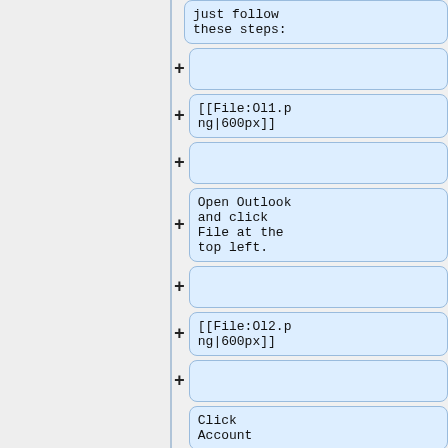just follow these steps:
[[File:Ol1.png|600px]]
Open Outlook and click File at the top left.
[[File:Ol2.png|600px]]
Click Account